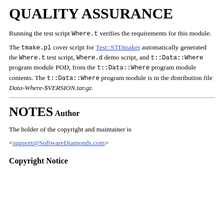QUALITY ASSURANCE
Running the test script Where.t verifies the requirements for this module.
The tmake.pl cover script for Test::STDmaker automatically generated the Where.t test script, Where.d demo script, and t::Data::Where program module POD, from the t::Data::Where program module contents. The t::Data::Where program module is in the distribution file Data-Where-$VERSION.tar.gz.
NOTES
Author
The holder of the copyright and maintainer is
<support@SoftwareDiamonds.com>
Copyright Notice